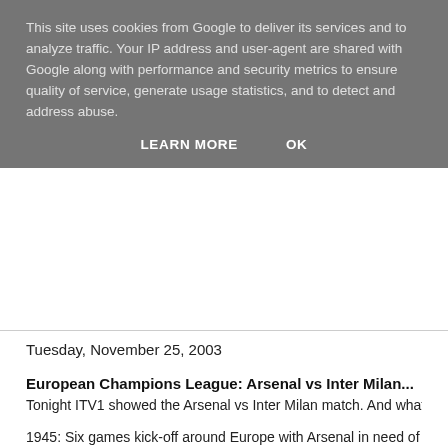This site uses cookies from Google to deliver its services and to analyze traffic. Your IP address and user-agent are shared with Google along with performance and security metrics to ensure quality of service, generate usage statistics, and to detect and address abuse.
LEARN MORE    OK
Tuesday, November 25, 2003
European Champions League: Arsenal vs Inter Milan...
Tonight ITV1 showed the Arsenal vs Inter Milan match. And what a corke
1945: Six games kick-off around Europe with Arsenal in need of victory to knocked out.
1950: Inter are awarded a free-kick in a dangerous position but Vieri mak piece and sends his shot well wide of the target.
2005: Arsenal lift their pace and Kanu shoots narrowly wide from 20 yard
2010: GOAL Inter Milan 0-1 Arsenal
Arsenal gain a crucial advantage as Thierry Henry sweeps the ball home